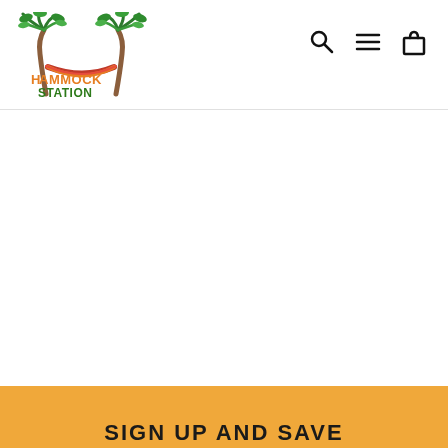[Figure (logo): Hammock Station logo with two palm trees and a hammock between them, with text 'Hammock Station' in orange and green]
[Figure (other): Navigation icons: search (magnifying glass), hamburger menu (three horizontal lines), and shopping bag/cart]
SIGN UP AND SAVE